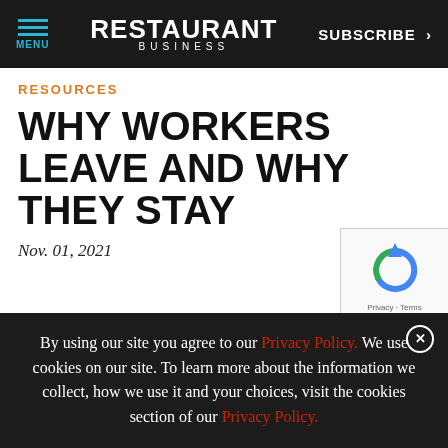RESTAURANT BUSINESS | MENU | SUBSCRIBE >
RESOURCES
WHY WORKERS LEAVE AND WHY THEY STAY
Nov. 01, 2021
[Figure (other): reCAPTCHA widget with circular arrows logo and Privacy - Terms links]
By using our site you agree to our Privacy Policy. We use cookies on our site. To learn more about the information we collect, how we use it and your choices, visit the cookies section of our Privacy Policy.